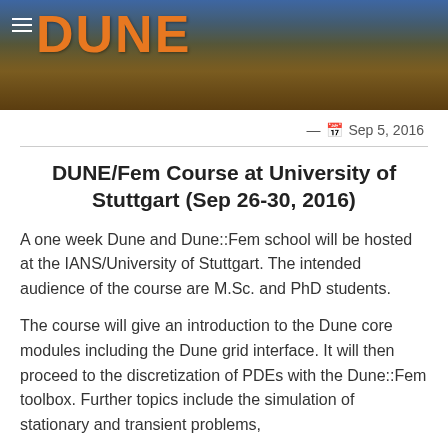[Figure (photo): DUNE website header banner with desert/mountain landscape background and orange DUNE logo text, with hamburger menu icon]
— 📅 Sep 5, 2016
DUNE/Fem Course at University of Stuttgart (Sep 26-30, 2016)
A one week Dune and Dune::Fem school will be hosted at the IANS/University of Stuttgart. The intended audience of the course are M.Sc. and PhD students.
The course will give an introduction to the Dune core modules including the Dune grid interface. It will then proceed to the discretization of PDEs with the Dune::Fem toolbox. Further topics include the simulation of stationary and transient problems,